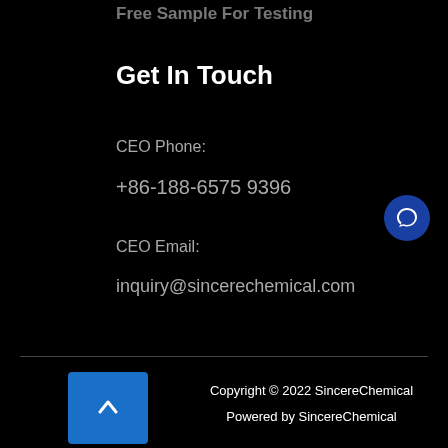Free Sample For Testing
Get In Touch
CEO Phone:
+86-188-6575 9396
CEO Email:
inquiry@sincerechemical.com
Copyright © 2022 SincereChemical
Powered by SincereChemical